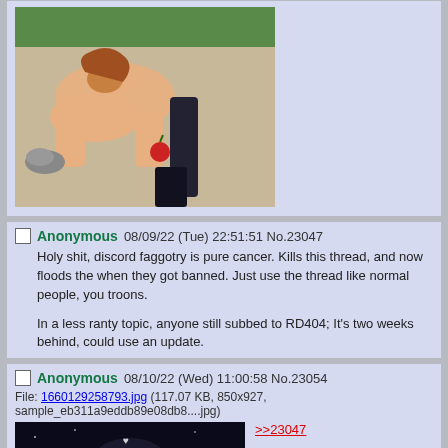[Figure (illustration): Anime illustration (partial, top of image cropped) showing a brown-haired character on the ground near an apple and dark figure legs]
Anonymous 08/09/22 (Tue) 22:51:51 No.23047
Holy shit, discord faggotry is pure cancer. Kills this thread, and now floods the when they got banned. Just use the thread like normal people, you troons.

In a less ranty topic, anyone still subbed to RD404; It's two weeks behind, could use an update.
Anonymous 08/10/22 (Wed) 11:00:58 No.23054
File: 1660129258793.jpg (117.07 KB, 850x927, sample_eb311a9eddb89e08db8....jpg)
>>23047